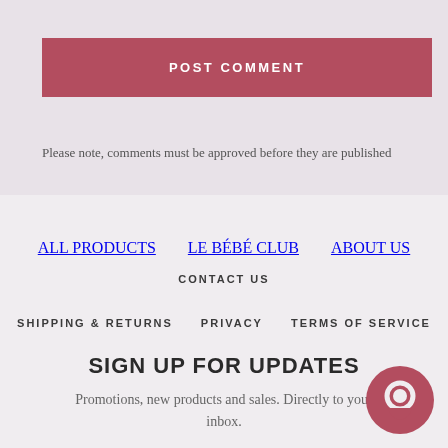POST COMMENT
Please note, comments must be approved before they are published
ALL PRODUCTS
LE BÉBÉ CLUB
ABOUT US
CONTACT US
SHIPPING & RETURNS
PRIVACY
TERMS OF SERVICE
SIGN UP FOR UPDATES
Promotions, new products and sales. Directly to your inbox.